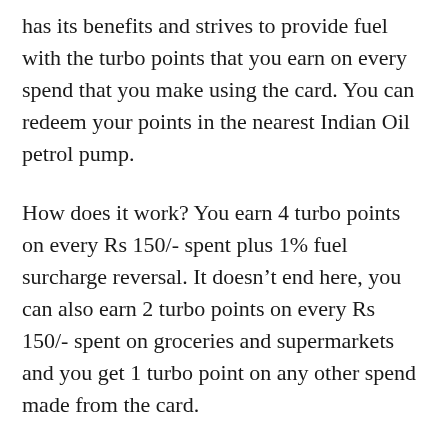has its benefits and strives to provide fuel with the turbo points that you earn on every spend that you make using the card. You can redeem your points in the nearest Indian Oil petrol pump.
How does it work? You earn 4 turbo points on every Rs 150/- spent plus 1% fuel surcharge reversal. It doesn’t end here, you can also earn 2 turbo points on every Rs 150/- spent on groceries and supermarkets and you get 1 turbo point on any other spend made from the card.
In the case of turbo points, one turbo point is equal to Re 1/- of free fuel from Indian Oil. You can redeem your points instantly for free and it’s easy with the help of a simple SMS. Ultimately, you will be able to keep on collecting and redeeming your points. You can also